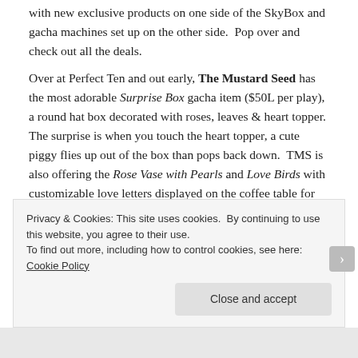with new exclusive products on one side of the SkyBox and gacha machines set up on the other side.  Pop over and check out all the deals.
Over at Perfect Ten and out early, The Mustard Seed has the most adorable Surprise Box gacha item ($50L per play), a round hat box decorated with roses, leaves & heart topper.  The surprise is when you touch the heart topper, a cute piggy flies up out of the box than pops back down.  TMS is also offering the Rose Vase with Pearls and Love Birds with customizable love letters displayed on the coffee table for 50% off.  Also discounted at Perfect Ten is Kaya's Ray of Sunshine Valentine True set which contains 2 sized pink/red heart garland, pink hurricane candle, and red
Privacy & Cookies: This site uses cookies.  By continuing to use this website, you agree to their use.
To find out more, including how to control cookies, see here: Cookie Policy